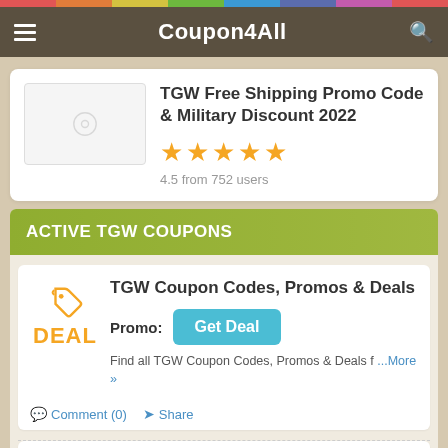Coupon4All
TGW Free Shipping Promo Code & Military Discount 2022
4.5 from 752 users
ACTIVE TGW COUPONS
TGW Coupon Codes, Promos & Deals
Promo: Get Deal
Find all TGW Coupon Codes, Promos & Deals f… ...More »
Comment (0)  Share
Up To 85% OFF Clearance + FREE Shipping